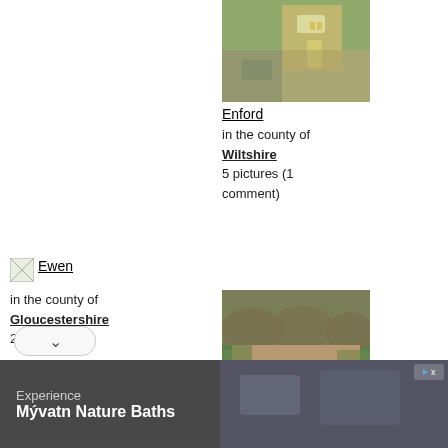[Figure (photo): Thatched/stone cottage with yellow door at Enford]
Enford
in the county of Wiltshire
5 pictures (1 comment)
[Figure (photo): Small broken image icon for Ewen]
Ewen
in the county of Gloucestershire
2 pictures
[Figure (photo): Thatched cottages covered with ivy and greenery at Exton]
Exton
in the county of Rutland
4 pictures (1
[Figure (photo): Advertisement: Experience Myvatn Nature Baths with image of bathers in dark water]